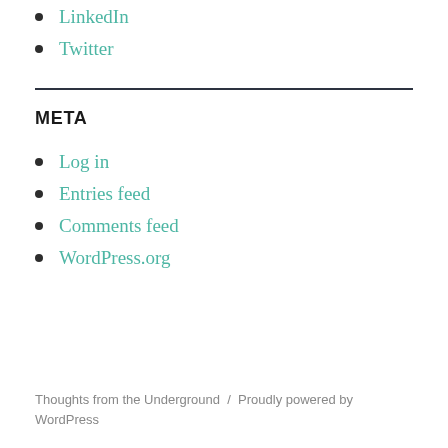LinkedIn
Twitter
META
Log in
Entries feed
Comments feed
WordPress.org
Thoughts from the Underground / Proudly powered by WordPress